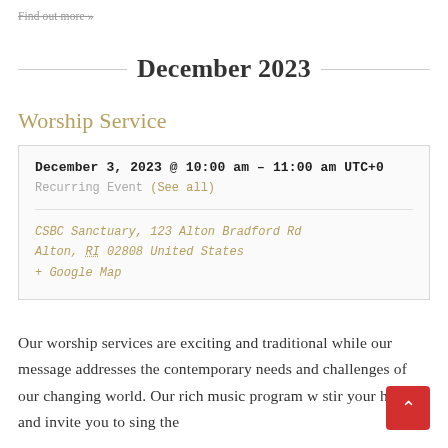Find out more »
December 2023
Worship Service
| December 3, 2023 @ 10:00 am - 11:00 am UTC+0 |
| Recurring Event (See all) |
| CSBC Sanctuary, 123 Alton Bradford Rd
Alton, RI 02808 United States
+ Google Map |
Our worship services are exciting and traditional while our message addresses the contemporary needs and challenges of our changing world. Our rich music program w stir your heart and invite you to sing the